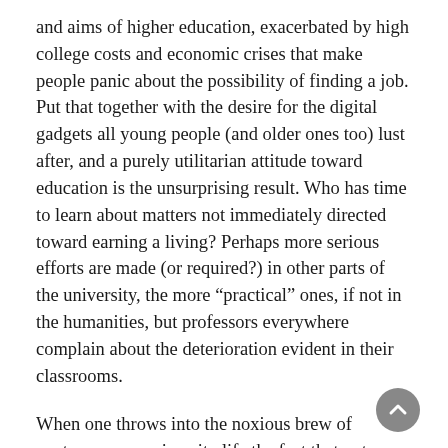and aims of higher education, exacerbated by high college costs and economic crises that make people panic about the possibility of finding a job. Put that together with the desire for the digital gadgets all young people (and older ones too) lust after, and a purely utilitarian attitude toward education is the unsurprising result. Who has time to learn about matters not immediately directed toward earning a living? Perhaps more serious efforts are made (or required?) in other parts of the university, the more “practical” ones, if not in the humanities, but professors everywhere complain about the deterioration evident in their classrooms.
When one throws into the noxious brew of contemporary university life the fact that not even humanities professors are inclined to defend the value of studying the humanities (and instead turn their courses into ersatz politics, or amusement, or some other more congenial activity), why should students take the humanities seriously? Universities